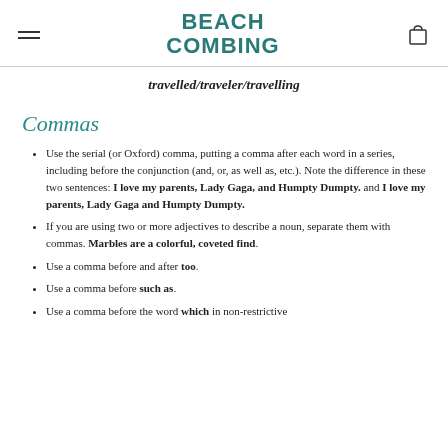BEACH COMBING
travelled/traveler/travelling
Commas
Use the serial (or Oxford) comma, putting a comma after each word in a series, including before the conjunction (and, or, as well as, etc.). Note the difference in these two sentences: I love my parents, Lady Gaga, and Humpty Dumpty. and I love my parents, Lady Gaga and Humpty Dumpty.
If you are using two or more adjectives to describe a noun, separate them with commas. Marbles are a colorful, coveted find.
Use a comma before and after too.
Use a comma before such as.
Use a comma before the word which in non-restrictive